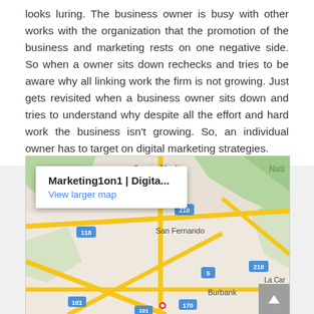looks luring. The business owner is busy with other works with the organization that the promotion of the business and marketing rests on one negative side. So when a owner sits down rechecks and tries to be aware why all linking work the firm is not growing. Just gets revisited when a business owner sits down and tries to understand why despite all the effort and hard work the business isn't growing. So, an individual owner has to target on digital marketing strategies.
[Figure (map): Google Maps screenshot showing Santa Clarita, San Fernando, Burbank area in Los Angeles with a popup for Marketing1on1 | Digita... and a 'View larger map' link. Roads 210, 118, 5, 170, 101 visible.]